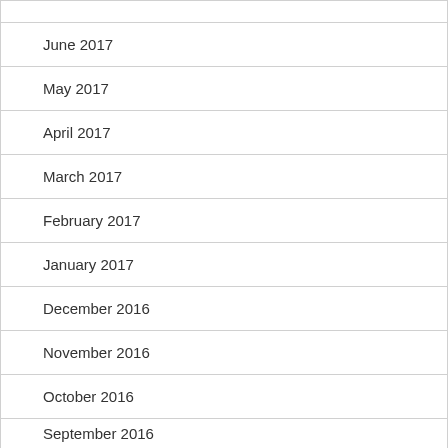June 2017
May 2017
April 2017
March 2017
February 2017
January 2017
December 2016
November 2016
October 2016
September 2016